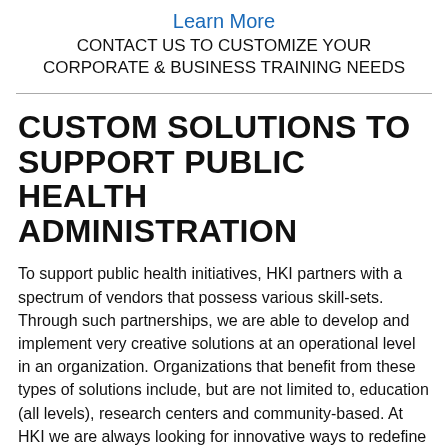Learn More
CONTACT US TO CUSTOMIZE YOUR CORPORATE & BUSINESS TRAINING NEEDS
CUSTOM SOLUTIONS TO SUPPORT PUBLIC HEALTH ADMINISTRATION
To support public health initiatives, HKI partners with a spectrum of vendors that possess various skill-sets. Through such partnerships, we are able to develop and implement very creative solutions at an operational level in an organization. Organizations that benefit from these types of solutions include, but are not limited to, education (all levels), research centers and community-based. At HKI we are always looking for innovative ways to redefine existing infrastructure to support all initiatives of healthcare, research and management systems